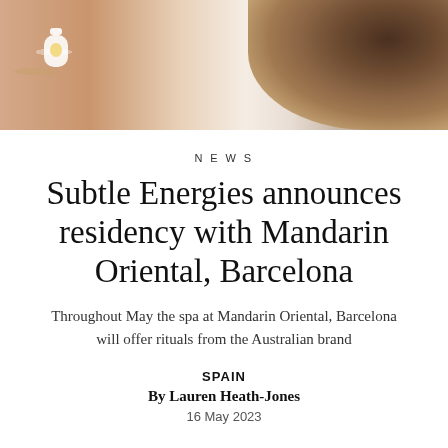[Figure (photo): Close-up photo of warm-toned fabric/clothing with a small bottle/pendant and curly hair visible on the right side]
NEWS
Subtle Energies announces residency with Mandarin Oriental, Barcelona
Throughout May the spa at Mandarin Oriental, Barcelona will offer rituals from the Australian brand
SPAIN
By Lauren Heath-Jones
16 May 2023